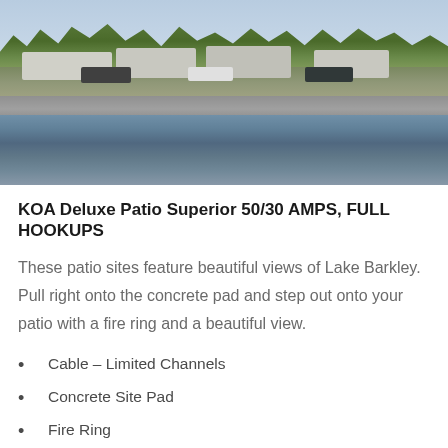[Figure (photo): Outdoor photo showing RVs and campers parked along a lakeside with trees in the background and a gravel/rock retaining wall, with water (Lake Barkley) in the foreground.]
KOA Deluxe Patio Superior 50/30 AMPS, FULL HOOKUPS
These patio sites feature beautiful views of Lake Barkley. Pull right onto the concrete pad and step out onto your patio with a fire ring and a beautiful view.
Cable – Limited Channels
Concrete Site Pad
Fire Ring